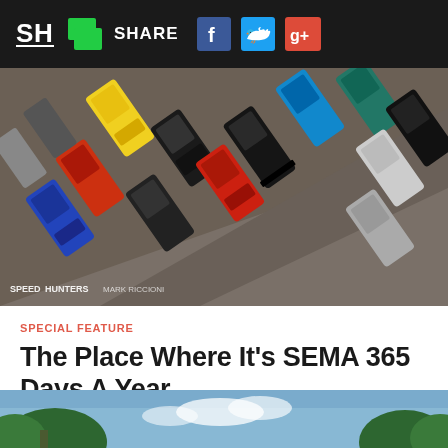SH | SHARE [social icons: Facebook, Twitter, Google+]
[Figure (photo): Aerial view of a parking lot filled with colorful exotic and sports cars including yellow, red, black, blue cars viewed from above. Speedhunters Mark Riccioni watermark visible in bottom left.]
SPECIAL FEATURE
The Place Where It's SEMA 365 Days A Year
December 11, 2021  /  12 Comments
[Figure (photo): Partial bottom image showing trees against a blue sky with clouds.]